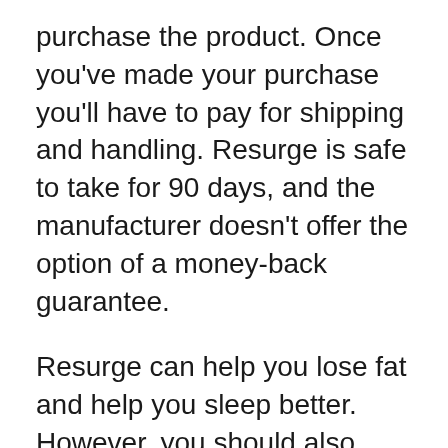purchase the product. Once you've made your purchase you'll have to pay for shipping and handling. Resurge is safe to take for 90 days, and the manufacturer doesn't offer the option of a money-back guarantee.
Resurge can help you lose fat and help you sleep better. However, you should also ensure that you have enough sleep each night. The formula is made up of ingredients that improve your sleep and reduce your hunger. Your metabolism slows down if you don't get enough sleep. You could eat more than you should. In addition, you may experience increased appetite, which may lead to weight growth. So, you should be careful about not sleeping enough to boost your energy levels.